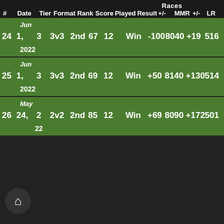| # | Date | Tier | Format | Rank | Score | Races Played | Result | +/- | MMR | +/- | LR |
| --- | --- | --- | --- | --- | --- | --- | --- | --- | --- | --- | --- |
| 24 | Jun 1, 2022 | 3 | 3v3 | 2nd | 67 | 12 | Win | -100 | 8040 | +19 | 516 |
| 25 | Jun 1, 2022 | 3 | 3v3 | 2nd | 69 | 12 | Win | +50 | 8140 | +130 | 514 |
| 26 | May 24, 2022 | 2 | 2v2 | 2nd | 85 | 12 | Win | +69 | 8090 | +172 | 501 |